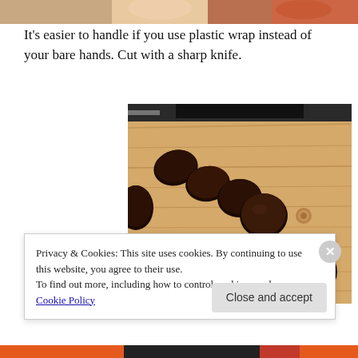[Figure (photo): Partial view of food items at top of page, cropped strip]
It's easier to handle if you use plastic wrap instead of your bare hands. Cut with a sharp knife.
[Figure (photo): Chocolate cookie dough or brownie pieces cut and arranged on a wooden cutting board, with a knife visible at the top]
Privacy & Cookies: This site uses cookies. By continuing to use this website, you agree to their use.
To find out more, including how to control cookies, see here: Cookie Policy
Close and accept